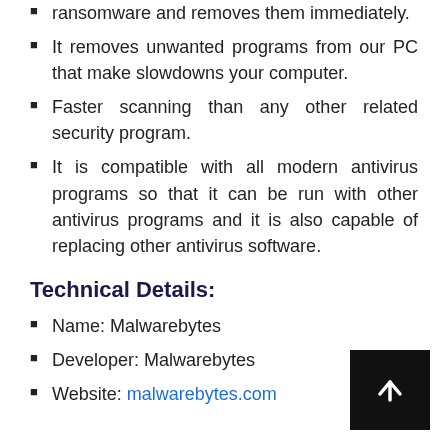ransomware and removes them immediately.
It removes unwanted programs from our PC that make slowdowns your computer.
Faster scanning than any other related security program.
It is compatible with all modern antivirus programs so that it can be run with other antivirus programs and it is also capable of replacing other antivirus software.
Technical Details:
Name: Malwarebytes
Developer: Malwarebytes
Website: malwarebytes.com